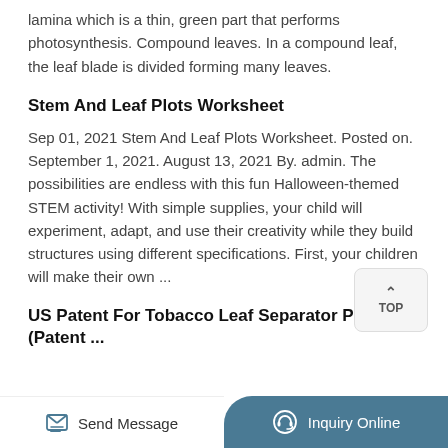lamina which is a thin, green part that performs photosynthesis. Compound leaves. In a compound leaf, the leaf blade is divided forming many leaves.
Stem And Leaf Plots Worksheet
Sep 01, 2021 Stem And Leaf Plots Worksheet. Posted on. September 1, 2021. August 13, 2021 By. admin. The possibilities are endless with this fun Halloween-themed STEM activity! With simple supplies, your child will experiment, adapt, and use their creativity while they build structures using different specifications. First, your children will make their own ...
US Patent For Tobacco Leaf Separator Patent (Patent ...
Send Message
Inquiry Online